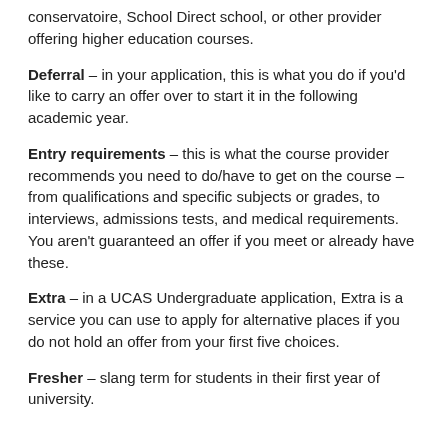conservatoire, School Direct school, or other provider offering higher education courses.
Deferral – in your application, this is what you do if you'd like to carry an offer over to start it in the following academic year.
Entry requirements – this is what the course provider recommends you need to do/have to get on the course – from qualifications and specific subjects or grades, to interviews, admissions tests, and medical requirements. You aren't guaranteed an offer if you meet or already have these.
Extra – in a UCAS Undergraduate application, Extra is a service you can use to apply for alternative places if you do not hold an offer from your first five choices.
Fresher – slang term for students in their first year of university.